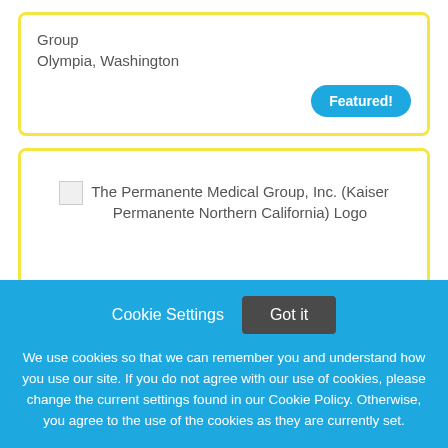Group
Olympia, Washington
Featured!
[Figure (logo): Broken image placeholder for The Permanente Medical Group, Inc. (Kaiser Permanente Northern California) Logo]
The Permanente Medical Group, Inc. (Kaiser Permanente Northern California) Logo
Cookie Settings
Got it
We use cookies so that we can remember you and understand how you use our site. If you do not agree with our use of cookies, please change the current settings found in our Cookie Policy. Otherwise, you agree to the use of the cookies as they are currently set.